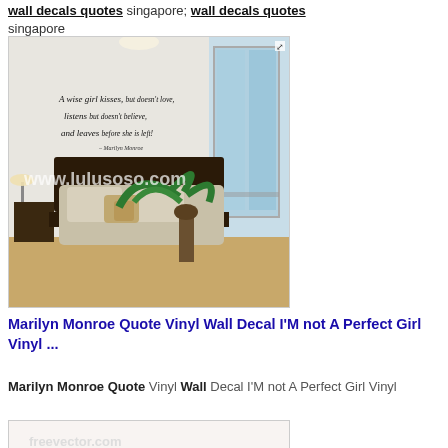wall decals quotes singapore; wall decals quotes singapore
[Figure (photo): Bedroom photo with wall decal quote 'A wise girl kisses, but doesn't love, listens but doesn't believe, and leaves before she is left. - Marilyn Monroe' with watermark www.lulusoso.com]
Marilyn Monroe Quote Vinyl Wall Decal I'M not A Perfect Girl Vinyl ...
Marilyn Monroe Quote Vinyl Wall Decal I'M not A Perfect Girl Vinyl
[Figure (photo): Partial view of a Marilyn Monroe quote vinyl decal product image with freevector.com watermark, showing 'I'M NOT' text at bottom]